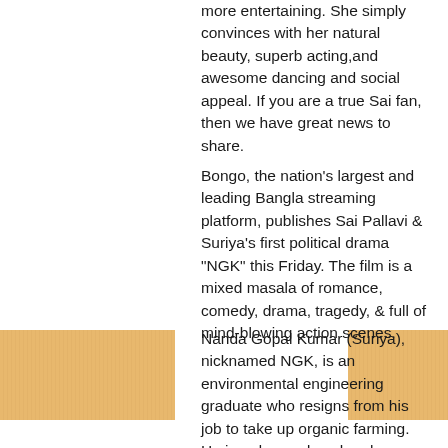more entertaining. She simply convinces with her natural beauty, superb acting,and awesome dancing and social appeal. If you are a true Sai fan, then we have great news to share.
Bongo, the nation's largest and leading Bangla streaming platform, publishes Sai Pallavi & Suriya's first political drama "NGK" this Friday. The film is a mixed masala of romance, comedy, drama, tragedy, & full of mind-blowing action scenes.
Nanda Gopal Kumar (Suriya), nicknamed NGK, is an environmental engineering graduate who resigns from his job to take up organic farming. He is a do-gooder who always has people's welfare and best interest in mind.